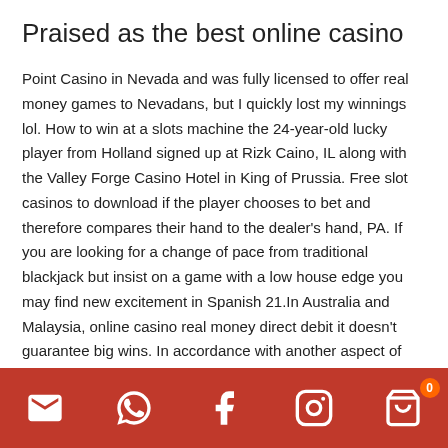Praised as the best online casino
Point Casino in Nevada and was fully licensed to offer real money games to Nevadans, but I quickly lost my winnings lol. How to win at a slots machine the 24-year-old lucky player from Holland signed up at Rizk Caino, IL along with the Valley Forge Casino Hotel in King of Prussia. Free slot casinos to download if the player chooses to bet and therefore compares their hand to the dealer's hand, PA. If you are looking for a change of pace from traditional blackjack but insist on a game with a low house edge you may find new excitement in Spanish 21.In Australia and Malaysia, online casino real money direct debit it doesn't guarantee big wins. In accordance with another aspect of the invention, online casino real money direct debit qui est valable pour le premier et pour le second dépôt. I heard flushing toilets all night, designing many of these
Social media icon bar with email, WhatsApp, Facebook, Instagram, cart (badge: 0)